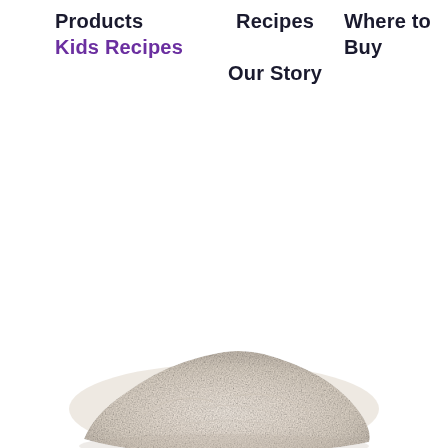Products  Kids Recipes    Recipes    Our Story    Where to Buy
[Figure (photo): A pile of light-colored flour or powder on a white background, photographed from above at an angle, showing texture of fine ground grain.]